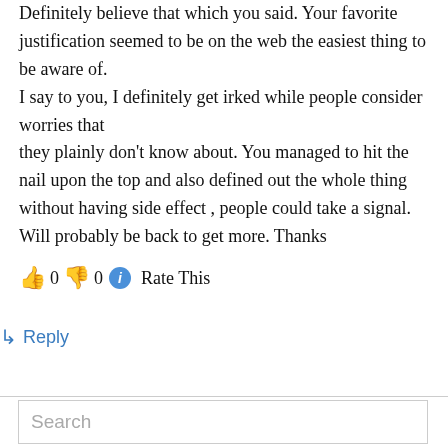Definitely believe that which you said. Your favorite justification seemed to be on the web the easiest thing to be aware of.
I say to you, I definitely get irked while people consider worries that
they plainly don't know about. You managed to hit the nail upon the top and also defined out the whole thing without having side effect , people could take a signal.
Will probably be back to get more. Thanks
👍 0 👎 0 ℹ Rate This
↳ Reply